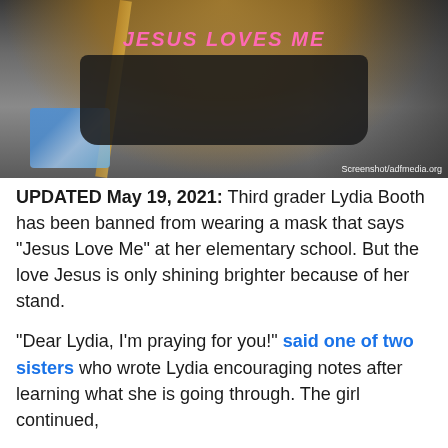[Figure (photo): A young girl wearing a black face mask that reads 'Jesus Loves Me' in pink text, sitting in a car seat with a blue patterned backpack. Screenshot watermark from adfmedia.org visible in bottom right.]
UPDATED May 19, 2021: Third grader Lydia Booth has been banned from wearing a mask that says “Jesus Love Me” at her elementary school. But the love Jesus is only shining brighter because of her stand.
“Dear Lydia, I’m praying for you!” said one of two sisters who wrote Lydia encouraging notes after learning what she is going through. The girl continued,
I’m glad that you’re a missionary. I’m so glad that God loves us and He sent His son to die for us! I know God is using us to tell others about Jesus. I know how you feel! I